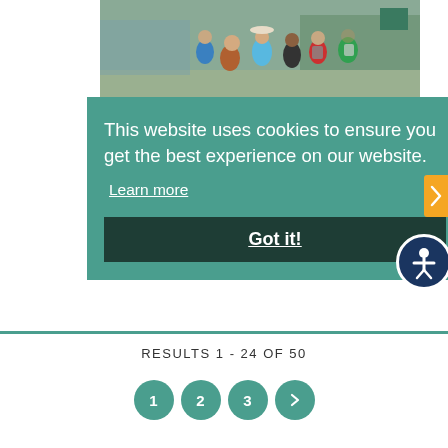[Figure (photo): Group of people, viewed from behind, walking outdoors near water and vegetation. One person wearing a hat appears to be a guide.]
This website uses cookies to ensure you get the best experience on our website.
Learn more
Got it!
[Figure (illustration): Circular accessibility icon: white figure with arms outstretched on dark navy blue background]
WEBSITE
DETAILS
RESULTS 1 - 24 OF 50
1
2
3